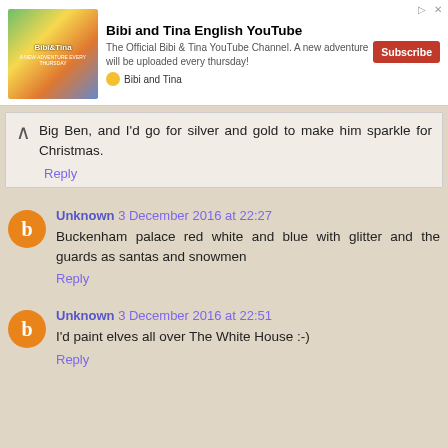[Figure (infographic): Advertisement banner for Bibi and Tina English YouTube channel with image, description, and subscribe button]
Big Ben, and I'd go for silver and gold to make him sparkle for Christmas.
Reply
Unknown 3 December 2016 at 22:27
Buckenham palace red white and blue with glitter and the guards as santas and snowmen
Reply
Unknown 3 December 2016 at 22:51
I'd paint elves all over The White House :-)
Reply